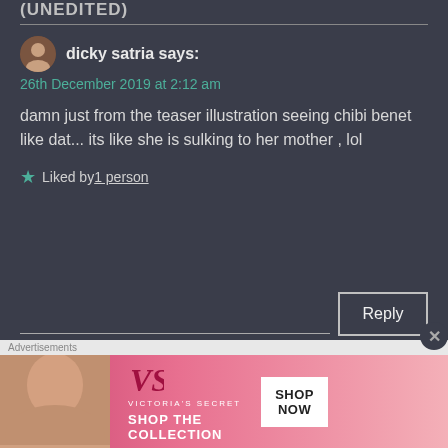(UNEDITED)
dicky satria says:
26th December 2019 at 2:12 am
damn just from the teaser illustration seeing chibi benet like dat... its like she is sulking to her mother , lol
★ Liked by 1 person
Reply
zhangh9 says:
[Figure (screenshot): Victoria's Secret advertisement banner with pink background, model photo, VS logo, SHOP THE COLLECTION text, and SHOP NOW button]